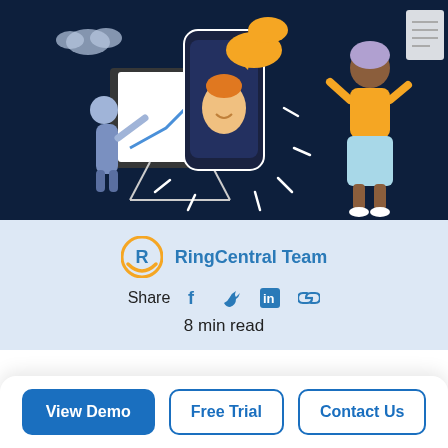[Figure (illustration): Dark navy blue background illustration showing people in a business/communication scene: a figure pointing at a chart with an upward blue arrow on an easel (left), a large smartphone in the center showing a person with orange speech bubbles, and a woman in an orange top (right). White dashes radiate from the phone as glow/signal lines. Cloud shapes in upper left.]
RingCentral Team
Share   f   𝕏   in   🔗
8 min read
Contro hould be fun.
View Demo
Free Trial
Contact Us